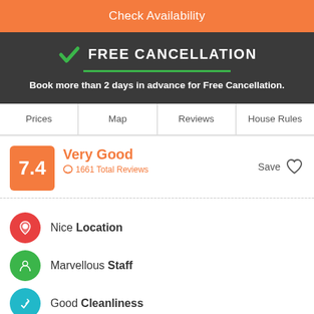Check Availability
FREE CANCELLATION
Book more than 2 days in advance for Free Cancellation.
Prices
Map
Reviews
House Rules
7.4 Very Good 1661 Total Reviews Save
Nice Location
Marvellous Staff
Good Cleanliness
Backpackers By the Bay is Airlie's secret little paradise! We are situated just a short walk away from the main street (400 meters, 5 minute walk) and were the closest hostel to the Premiere & Greyhound drop